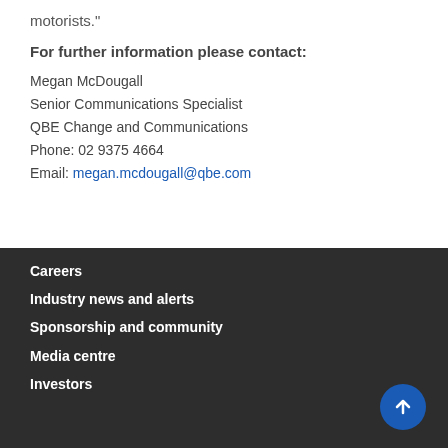motorists."
For further information please contact:
Megan McDougall
Senior Communications Specialist
QBE Change and Communications
Phone: 02 9375 4664
Email: megan.mcdougall@qbe.com
Careers
Industry news and alerts
Sponsorship and community
Media centre
Investors